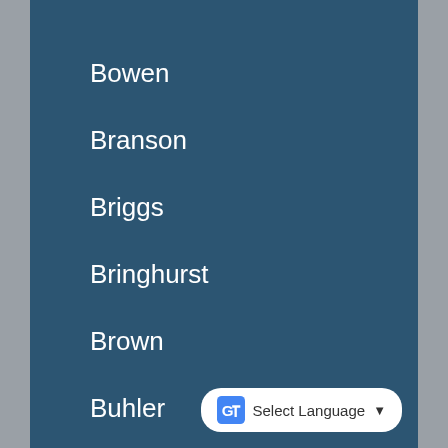Bowen
Branson
Briggs
Bringhurst
Brown
Buhler
Bullock
Bunker